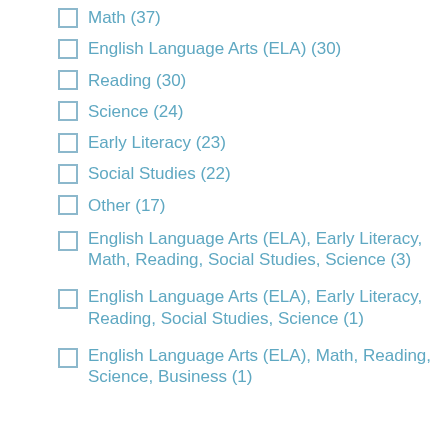Math (37)
English Language Arts (ELA) (30)
Reading (30)
Science (24)
Early Literacy (23)
Social Studies (22)
Other (17)
English Language Arts (ELA), Early Literacy, Math, Reading, Social Studies, Science (3)
English Language Arts (ELA), Early Literacy, Reading, Social Studies, Science (1)
English Language Arts (ELA), Math, Reading, Science, Business (1)